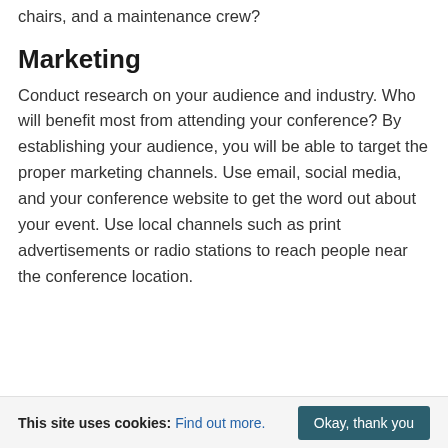chairs, and a maintenance crew?
Marketing
Conduct research on your audience and industry. Who will benefit most from attending your conference? By establishing your audience, you will be able to target the proper marketing channels. Use email, social media, and your conference website to get the word out about your event. Use local channels such as print advertisements or radio stations to reach people near the conference location.
This site uses cookies: Find out more. Okay, thank you